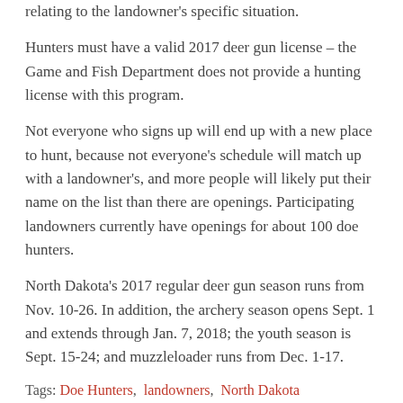relating to the landowner's specific situation.
Hunters must have a valid 2017 deer gun license – the Game and Fish Department does not provide a hunting license with this program.
Not everyone who signs up will end up with a new place to hunt, because not everyone's schedule will match up with a landowner's, and more people will likely put their name on the list than there are openings. Participating landowners currently have openings for about 100 doe hunters.
North Dakota's 2017 regular deer gun season runs from Nov. 10-26. In addition, the archery season opens Sept. 1 and extends through Jan. 7, 2018; the youth season is Sept. 15-24; and muzzleloader runs from Dec. 1-17.
Tags: Doe Hunters, landowners, North Dakota
RELATED NEWS
IOWA'S YOUTH DEER SEASON BEGINS SEPT. 19